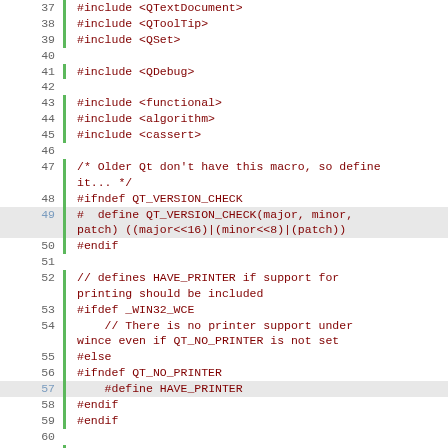[Figure (screenshot): Source code editor showing C++ preprocessor includes and code for KDGantt library, lines 37-70, with line numbers on the left, a green gutter indicator, and syntax highlighting in red/green/blue/black colors.]